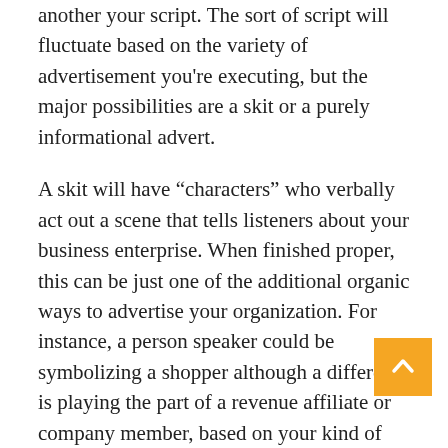another your script. The sort of script will fluctuate based on the variety of advertisement you're executing, but the major possibilities are a skit or a purely informational advert.
A skit will have “characters” who verbally act out a scene that tells listeners about your business enterprise. When finished proper, this can be just one of the additional organic ways to advertise your organization. For instance, a person speaker could be symbolizing a shopper although a different is playing the part of a revenue affiliate or company member, based on your kind of company.
For a dwell go through or sponsorship, you’re a lot more probable to be advised an informational advert, considering that it will be study aloud in instant. For both form, you can draft the script yourself, have people at the radio station do it, or